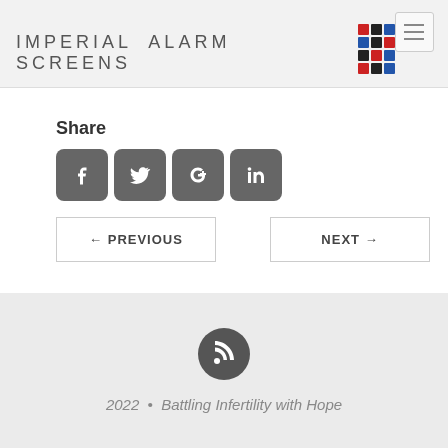IMPERIAL ALARM SCREENS
Share
[Figure (illustration): Social media sharing icons: Facebook, Twitter, Google+, LinkedIn]
← PREVIOUS
NEXT →
[Figure (illustration): RSS feed icon in dark circle]
2022 • Battling Infertility with Hope